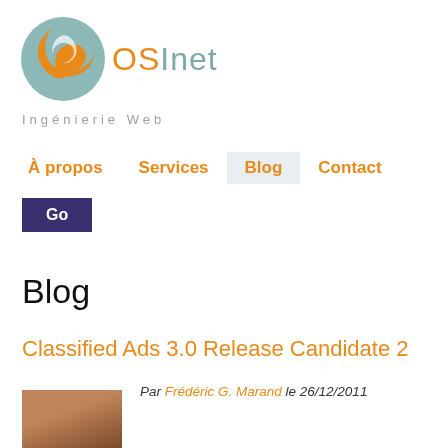[Figure (logo): OSInet logo with orange and teal circular S-shape icon and text 'OSInet' in teal]
Ingénierie Web
À propos   Services   Blog   Contact
Go
Blog
Classified Ads 3.0 Release Candidate 2
Par Frédéric G. Marand le 26/12/2011